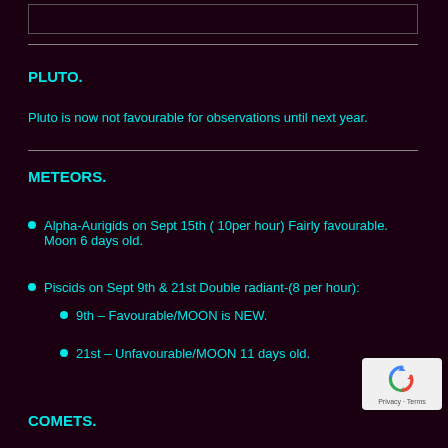PLUTO.
Pluto is now not favourable for observations until next year.
METEORS.
Alpha-Aurigids on Sept 15th ( 10per hour) Fairly favourable. Moon 6 days old.
Piscids on Sept 9th & 21st Double radiant-(8 per hour):
9th – Favourable/MOON is NEW.
21st – Unfavourable/MOON 11 days old.
COMETS.
[Figure (logo): Google reCAPTCHA badge with Privacy and Terms text]